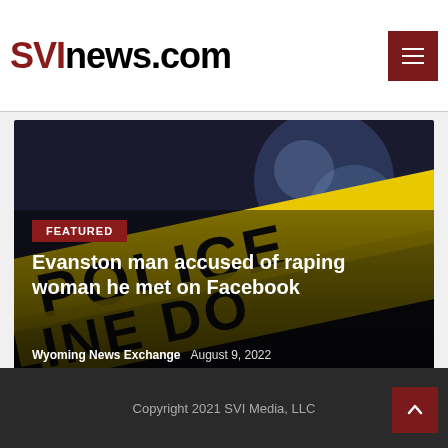SVInews.com
[Figure (photo): Police crime scene tape with 'POLICE LINE DO NOT CROSS' text in yellow and black, photographed at night with bokeh background lighting]
FEATURED
Evanston man accused of raping woman he met on Facebook
Wyoming News Exchange   August 9, 2022
Copyright 2021 SVI Media, LLC